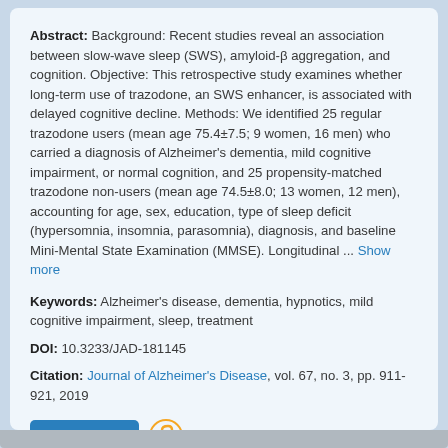Abstract: Background: Recent studies reveal an association between slow-wave sleep (SWS), amyloid-β aggregation, and cognition. Objective: This retrospective study examines whether long-term use of trazodone, an SWS enhancer, is associated with delayed cognitive decline. Methods: We identified 25 regular trazodone users (mean age 75.4±7.5; 9 women, 16 men) who carried a diagnosis of Alzheimer's dementia, mild cognitive impairment, or normal cognition, and 25 propensity-matched trazodone non-users (mean age 74.5±8.0; 13 women, 12 men), accounting for age, sex, education, type of sleep deficit (hypersomnia, insomnia, parasomnia), diagnosis, and baseline Mini-Mental State Examination (MMSE). Longitudinal ... Show more
Keywords: Alzheimer's disease, dementia, hypnotics, mild cognitive impairment, sleep, treatment
DOI: 10.3233/JAD-181145
Citation: Journal of Alzheimer's Disease, vol. 67, no. 3, pp. 911-921, 2019